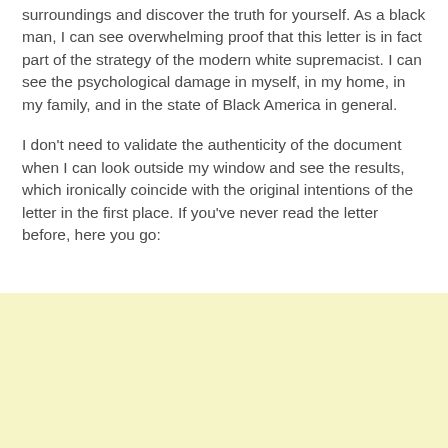surroundings and discover the truth for yourself. As a black man, I can see overwhelming proof that this letter is in fact part of the strategy of the modern white supremacist. I can see the psychological damage in myself, in my home, in my family, and in the state of Black America in general.
I don't need to validate the authenticity of the document when I can look outside my window and see the results, which ironically coincide with the original intentions of the letter in the first place. If you've never read the letter before, here you go:
[Figure (other): Light yellow/cream colored box at the bottom of the page, representing a quoted document or letter block.]